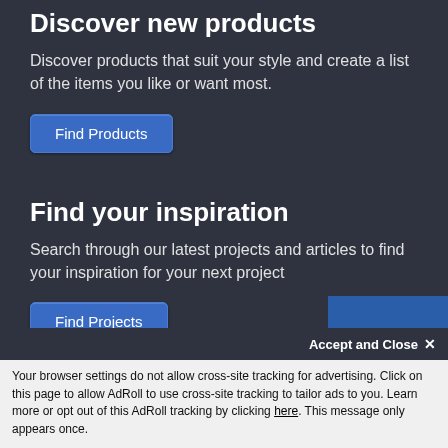Discover new products
Discover products that suit your style and create a list of the items you like or want most.
Find Products
Find your inspiration
Search through our latest projects and articles to find your inspiration for your next project
Find Projects
Share your thoughts
Join the community and give your insight
Accept and Close ✕
Your browser settings do not allow cross-site tracking for advertising. Click on this page to allow AdRoll to use cross-site tracking to tailor ads to you. Learn more or opt out of this AdRoll tracking by clicking here. This message only appears once.